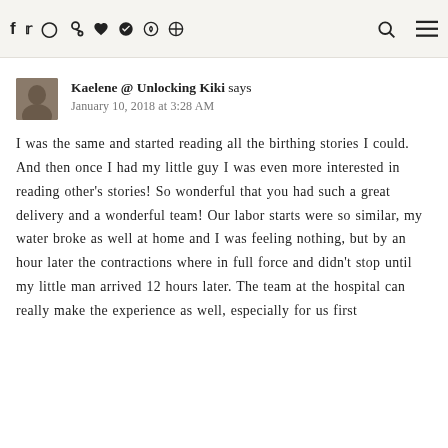Social media icons: f, twitter, instagram, pinterest, heart, snapchat, shield | search icon | menu icon
Kaelene @ Unlocking Kiki says
January 10, 2018 at 3:28 AM
I was the same and started reading all the birthing stories I could. And then once I had my little guy I was even more interested in reading other's stories! So wonderful that you had such a great delivery and a wonderful team! Our labor starts were so similar, my water broke as well at home and I was feeling nothing, but by an hour later the contractions where in full force and didn't stop until my little man arrived 12 hours later. The team at the hospital can really make the experience as well, especially for us first